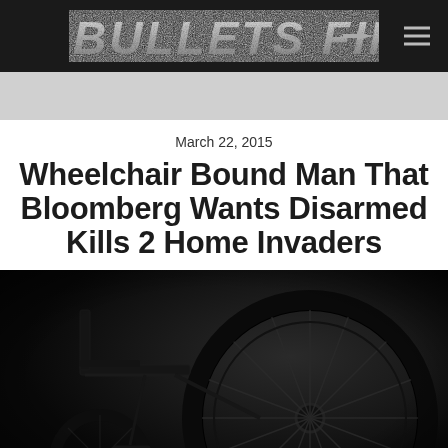BULLETS FIRST
March 22, 2015
Wheelchair Bound Man That Bloomberg Wants Disarmed Kills 2 Home Invaders
[Figure (photo): Black and white silhouette photograph of a wheelchair, showing large wheel spokes against a dark background]